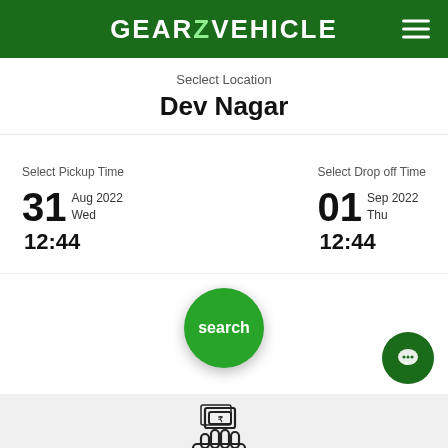GEARZVEHICLE
Seclect Location
Dev Nagar
Select Pickup Time
31 Aug 2022 Wed 12:44
Select Drop off Time
01 Sep 2022 Thu 12:44
[Figure (other): Green circular search button with text 'search']
[Figure (illustration): Hand holding cash/money icon for Partial Payment]
Partial Payment
Book your ride online for ₹ 300 and pay the rest at the pickup location